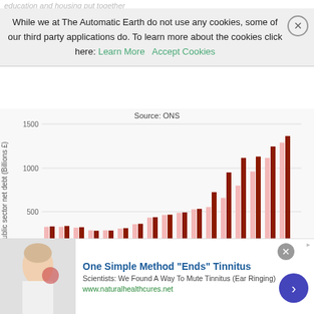education and housing put together
While we at The Automatic Earth do not use any cookies, some of our third party applications do. To learn more about the cookies click here: Learn More   Accept Cookies
[Figure (grouped-bar-chart): Source: ONS]
Highcharts.com
One Simple Method "Ends" Tinnitus
Scientists: We Found A Way To Mute Tinnitus (Ear Ringing)
www.naturalhealthcures.net